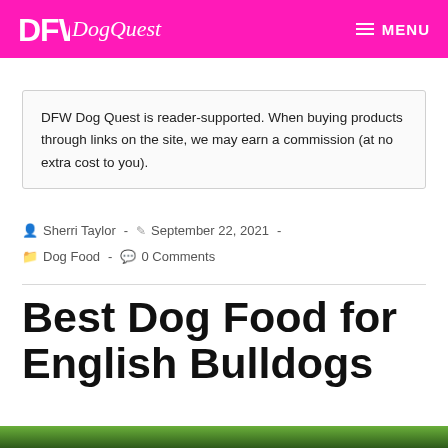DFW DogQuest — MENU
DFW Dog Quest is reader-supported. When buying products through links on the site, we may earn a commission (at no extra cost to you).
Sherri Taylor - September 22, 2021 - Dog Food - 0 Comments
Best Dog Food for English Bulldogs
[Figure (photo): Partial bottom strip showing green foliage/grass]